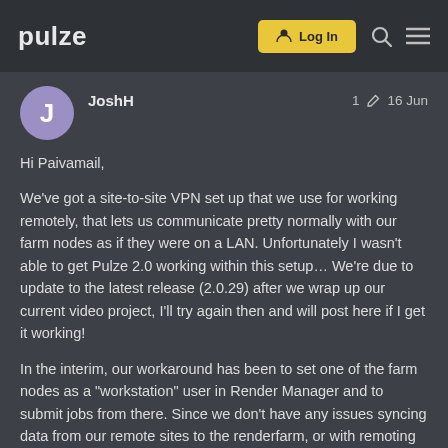pulze | Log In
JoshH  1  16 Jun
Hi Paivamail,
We've got a site-to-site VPN set up that we use for working remotely, that lets us communicate pretty normally with our farm nodes as if they were on a LAN. Unfortunately I wasn't able to get Pulze 2.0 working within this setup… We're due to update to the latest release (2.0.29) after we wrap up our current video project, I'll try again then and will post here if I get it working!
In the interim, our workaround has been to set one of the farm nodes as a "workstation" user in Render Manager and to submit jobs from there. Since we don't have any issues syncing data from our remote sites to the renderfarm, or with remoting into our nodes, this has been working well.